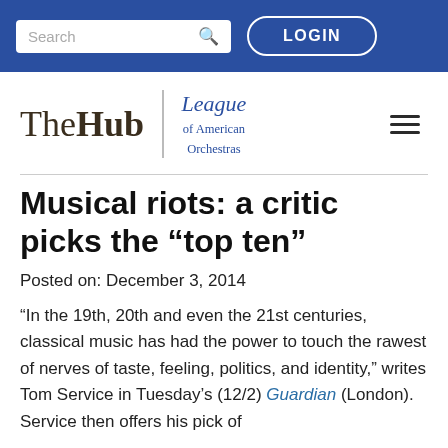Search | LOGIN
[Figure (logo): The Hub | League of American Orchestras logo with hamburger menu]
Musical riots: a critic picks the “top ten”
Posted on: December 3, 2014
“In the 19th, 20th and even the 21st centuries, classical music has had the power to touch the rawest of nerves of taste, feeling, politics, and identity,” writes Tom Service in Tuesday’s (12/2) Guardian (London). Service then offers his pick of